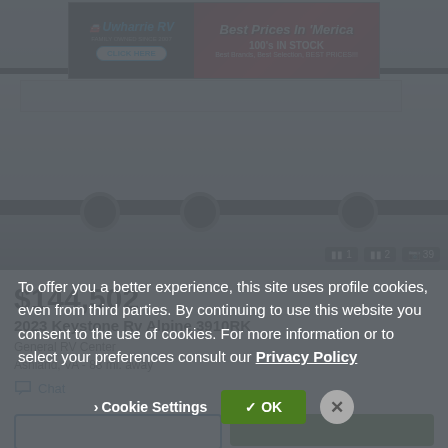[Figure (photo): Advertisement banner for Uwharrie RV with text 'Best Prices In Merica', '100's IN STOCK', 'Best Brands, Best Selection, BEST PRICES!!!', and a CLICK HERE button]
[Figure (photo): RV listing photo showing a large fifth-wheel or toy hauler RV in a dealership, side view, with media count indicators showing 1 video, 2 video clips, and 39 photos]
$144,502
2023 Keystone Rv Alpine 3910RK
General RV Center
Ashland, VA - 88 mi. away
Chat
To offer you a better experience, this site uses profile cookies, even from third parties. By continuing to use this website you consent to the use of cookies. For more information or to select your preferences consult our Privacy Policy
Cookie Settings
✓ OK